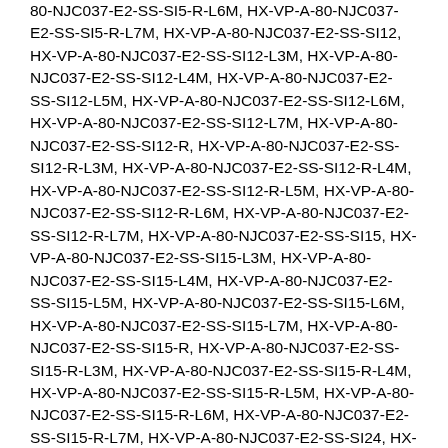80-NJC037-E2-SS-SI5-R-L6M, HX-VP-A-80-NJC037-E2-SS-SI5-R-L7M, HX-VP-A-80-NJC037-E2-SS-SI12, HX-VP-A-80-NJC037-E2-SS-SI12-L3M, HX-VP-A-80-NJC037-E2-SS-SI12-L4M, HX-VP-A-80-NJC037-E2-SS-SI12-L5M, HX-VP-A-80-NJC037-E2-SS-SI12-L6M, HX-VP-A-80-NJC037-E2-SS-SI12-L7M, HX-VP-A-80-NJC037-E2-SS-SI12-R, HX-VP-A-80-NJC037-E2-SS-SI12-R-L3M, HX-VP-A-80-NJC037-E2-SS-SI12-R-L4M, HX-VP-A-80-NJC037-E2-SS-SI12-R-L5M, HX-VP-A-80-NJC037-E2-SS-SI12-R-L6M, HX-VP-A-80-NJC037-E2-SS-SI12-R-L7M, HX-VP-A-80-NJC037-E2-SS-SI15, HX-VP-A-80-NJC037-E2-SS-SI15-L3M, HX-VP-A-80-NJC037-E2-SS-SI15-L4M, HX-VP-A-80-NJC037-E2-SS-SI15-L5M, HX-VP-A-80-NJC037-E2-SS-SI15-L6M, HX-VP-A-80-NJC037-E2-SS-SI15-L7M, HX-VP-A-80-NJC037-E2-SS-SI15-R, HX-VP-A-80-NJC037-E2-SS-SI15-R-L3M, HX-VP-A-80-NJC037-E2-SS-SI15-R-L4M, HX-VP-A-80-NJC037-E2-SS-SI15-R-L5M, HX-VP-A-80-NJC037-E2-SS-SI15-R-L6M, HX-VP-A-80-NJC037-E2-SS-SI15-R-L7M, HX-VP-A-80-NJC037-E2-SS-SI24, HX-VP-A-80-NJC037-E2-SS-SI24-L3M, HX-VP-A-80-NJC037-E2-SS-SI24-L4M, HX-VP-A-80-NJC037-E2-SS-SI24-L5M, HX-VP-A-80-NJC037-E2-SS-SI24-L6M, HX-VP-A-80-NJC037-E2-SS-SI24-L7M, HX-VP-A-80-NJC037-E2-SS-SI24-R, HX-VP-A-80-NJC037-E2-SS-SI24-R-L3M, HX-VP-A-80-NJC037-E2-SS-SI24-R-L4M, HX-VP-A-80-NJC037-E2-SS-SI24-R-L5M, HX-VP-A-80-NJC037-E2-SS-